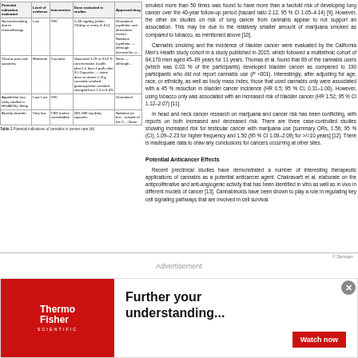| Potential indication evaluated | Level of evidence | Intervention | Dose evaluated in studies | Approved drug |
| --- | --- | --- | --- | --- |
| Nausea/vomiting due to chemotherapy | Low | THC | 5-60 mg/day (either 1% /day or every 4-6 h) | Dronabinol (synthetic and derivatives mimic); Nabilone (synthetic — although licensed for u... |
| Chronic pain and spasticity | Moderate | Cannabis | Vaporized 1.29 or 3.53 % concentration 4 puffs after 1 h then 4 puffs after 3 h Capsules — same dose as above 1-8 g cannabis smoked (potency/when smoked changed from 2.5 to 9.4% | None — although... |
| Appetite/wt loss (only studied in HIV/AIDS); Sleep | Low; Low | THC |  | Dronabinol |
| Anxiety disorder | Very low | CBD (native cannabidiol) | 200-900 mg daily capsules | Nabilone (in bro... outside of the C...; None |
smoked more than 50 times was found to have more than a twofold risk of developing lung cancer over the 40-year follow-up period (hazard ratio 2.12, 95 % CI 1.05–4.14) [9]. However, the other six studies on risk of lung cancer from cannabis appear to not support an association. This may be due to the relatively smaller amount of marijuana smoked as compared to tobacco, as mentioned above [10].
Cannabis smoking and the incidence of bladder cancer were evaluated by the California Men's Health study cohort in a study published in 2015, which followed a multiethnic cohort of 84,170 men aged 45–69 years for 11 years. Thomas et al. found that 89 of the cannabis users (which was 0.03 % of the participants) developed bladder cancer as compared to 190 participants who did not report cannabis use (P < 001). Interestingly, after adjusting for age, race, or ethnicity, as well as body mass index, those that used cannabis only were associated with a 45 % reduction in bladder cancer incidence (HR 0.5; 95 % CI, 0.31–1.00). However, using tobacco only was associated with an increased risk of bladder cancer (HR 1.52; 95 % CI 1.12–2.07) [11].
In head and neck cancer research on marijuana and cancer risk has been conflicting, with reports on both increased and decreased risk. There are three case-controlled studies showing increased risk for testicular cancer with marijuana use [summary ORs, 1.56; 95 % (CI), 1.09–2.23 for higher frequency and 1.50 (95 % CI 1.08–2.09) for >/=10 years] [12]. There is inadequate data to draw any conclusions for cancers occurring at other sites.
Potential Anticancer Effects
Recent preclinical studies have demonstrated a number of interesting therapeutic applications of cannabis as a potential anticancer agent. Chakravarti et al. elaborate on the antiproliferative and anti-angiogenic activity that has been identified in vitro as well as in vivo in different models of cancer [13]. Cannabinoids have been shown to play a role in regulating key cell signaling pathways that are involved in cell survival.
© Springer
Advertisement
[Figure (other): ThermoFisher Scientific advertisement banner with text 'Further your understanding...' and a red 'Watch now' button]